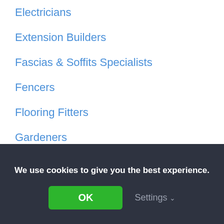Electricians
Extension Builders
Fascias & Soffits Specialists
Fencers
Flooring Fitters
Gardeners
Gas Engineers
Groundworkers
Guttering Installers
We use cookies to give you the best experience.